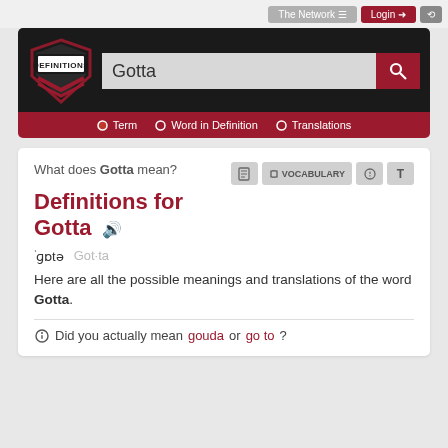The Network  Login
[Figure (logo): Definitions.net shield logo with text DEFINITIONS]
Gotta
Term  Word in Definition  Translations
What does Gotta mean?
Definitions for Gotta
ˈɡɒtə  Got·ta
Here are all the possible meanings and translations of the word Gotta.
Did you actually mean gouda or go to?